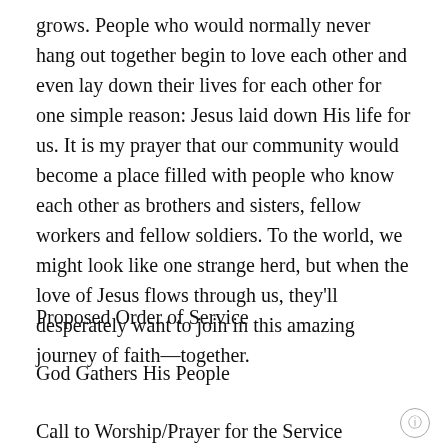grows. People who would normally never hang out together begin to love each other and even lay down their lives for each other for one simple reason: Jesus laid down His life for us. It is my prayer that our community would become a place filled with people who know each other as brothers and sisters, fellow workers and fellow soldiers. To the world, we might look like one strange herd, but when the love of Jesus flows through us, they'll desperately want to join in this amazing journey of faith—together.
Proposed Order of Service
God Gathers His People
Call to Worship/Prayer for the Service